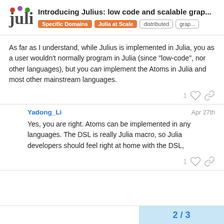Introducing Julius: low code and scalable grap... | Specific Domains | Julia at Scale | distributed | grap...
As far as I understand, while Julius is implemented in Julia, you as a user wouldn't normally program in Julia (since "low-code", nor other languages), but you can implement the Atoms in Julia and most other mainstream languages.
Yadong_Li Apr 27th
Yes, you are right. Atoms can be implemented in any languages. The DSL is really Julia macro, so Julia developers should feel right at home with the DSL,
2 / 3